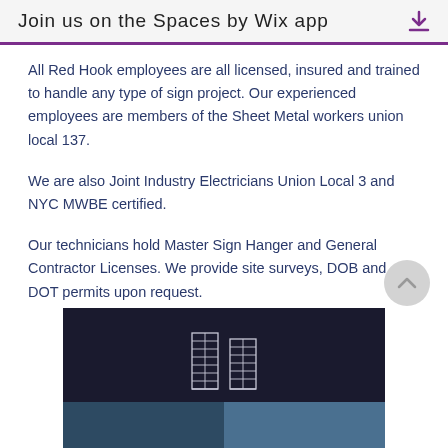Join us on the Spaces by Wix app
All Red Hook employees are all licensed, insured and trained to handle any type of sign project. Our experienced employees are members of the Sheet Metal workers union local 137.
We are also Joint Industry Electricians Union Local 3 and NYC MWBE certified.
Our technicians hold Master Sign Hanger and General Contractor Licenses. We provide site surveys, DOB and DOT permits upon request.
[Figure (logo): White building/city skyline icon on dark background footer]
[Figure (photo): Two photo thumbnails at the bottom of the page]